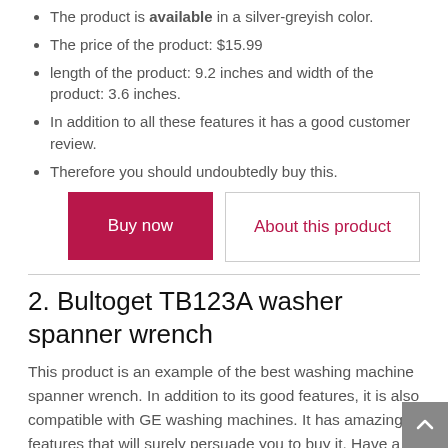The product is available in a silver-greyish color.
The price of the product: $15.99
length of the product: 9.2 inches and width of the product: 3.6 inches.
In addition to all these features it has a good customer review.
Therefore you should undoubtedly buy this.
[Figure (other): Two buttons side by side: a crimson 'Buy now' button and a white 'About this product' button with crimson text and grey border.]
2. Bultoget TB123A washer spanner wrench
This product is an example of the best washing machine spanner wrench. In addition to its good features, it is also compatible with GE washing machines. It has amazing features that will surely persuade you to buy it. Have a look at this unique product and it will mesmerize you for